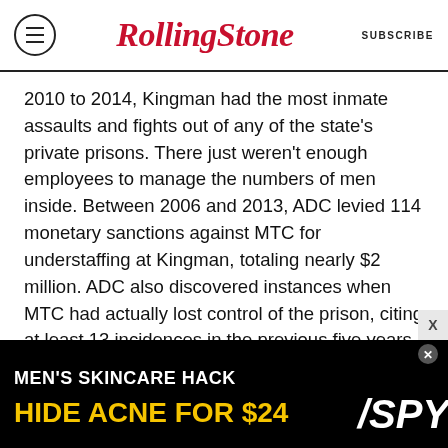Rolling Stone — SUBSCRIBE
2010 to 2014, Kingman had the most inmate assaults and fights out of any of the state's private prisons. There just weren't enough employees to manage the numbers of men inside. Between 2006 and 2013, ADC levied 114 monetary sanctions against MTC for understaffing at Kingman, totaling nearly $2 million. ADC also discovered instances when MTC had actually lost control of the prison, citing at least 13 incidences in the previous five years when inmates had chased officers off the yard.
The violence was coupled with a thriving drug trade. Less than a month before the escape,
[Figure (infographic): Advertisement banner: MEN'S SKINCARE HACK / HIDE ACNE FOR $24 with SPY logo]